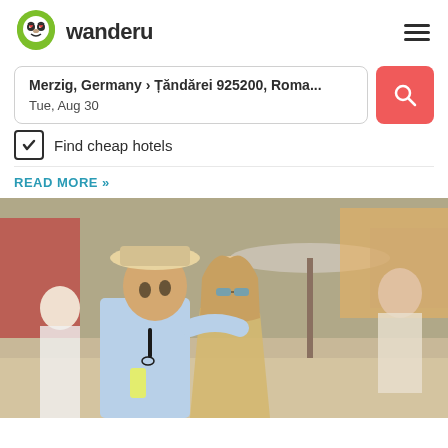[Figure (logo): Wanderu logo: green monkey head icon with heart eyes, followed by 'wanderu' in bold dark text]
Merzig, Germany › Țăndărei 925200, Roma...
Tue, Aug 30
Find cheap hotels
READ MORE »
[Figure (photo): A couple at an outdoor market. A man wearing a straw hat and light blue polo shirt stands next to a woman with long blonde hair wearing a flowy beige outfit. They are in a busy market with colorful stalls, umbrellas, and other shoppers visible in the background.]